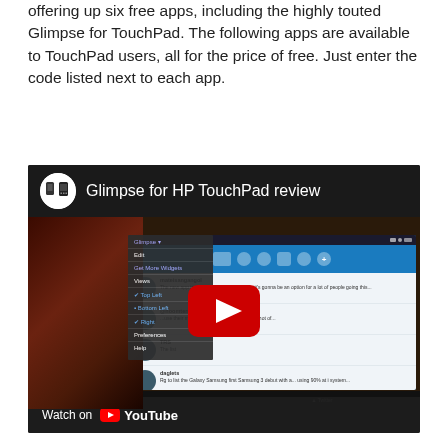offering up six free apps, including the highly touted Glimpse for TouchPad. The following apps are available to TouchPad users, all for the price of free. Just enter the code listed next to each app.
[Figure (screenshot): YouTube video embed showing 'Glimpse for HP TouchPad review' with a thumbnail of someone using an HP TouchPad tablet showing a Twitter-like interface with a red YouTube play button overlay. Bottom bar shows 'Watch on YouTube'.]